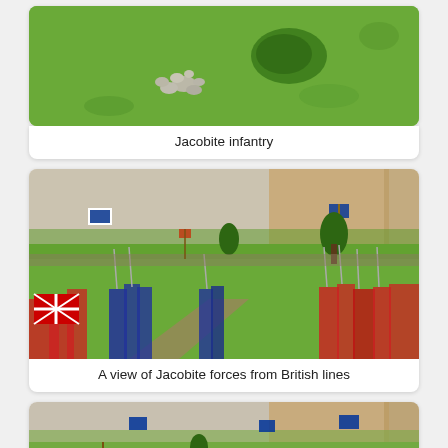[Figure (photo): Aerial/top-down view of Jacobite infantry miniature figurines on a green battlefield with rocks and shrubs]
Jacobite infantry
[Figure (photo): Wargame miniature diorama showing a view of Jacobite forces from British lines, with infantry formations, flags, trees, and a road on a green battlefield]
A view of Jacobite forces from British lines
[Figure (photo): Wargame miniature diorama showing Jacobite and British forces on a green battlefield, partially visible at bottom of page]